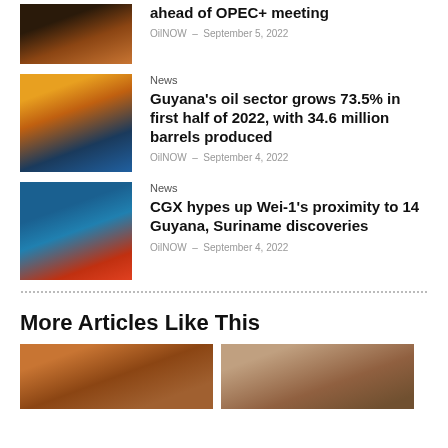ahead of OPEC+ meeting
OilNOW – September 5, 2022
[Figure (photo): Oil tanker ship at sea]
News
Guyana's oil sector grows 73.5% in first half of 2022, with 34.6 million barrels produced
OilNOW – September 4, 2022
[Figure (photo): Offshore oil platform at sunset]
News
CGX hypes up Wei-1's proximity to 14 Guyana, Suriname discoveries
OilNOW – September 4, 2022
[Figure (photo): Offshore drilling rig with red hull]
More Articles Like This
[Figure (photo): Industrial facility]
[Figure (photo): Person at desk]